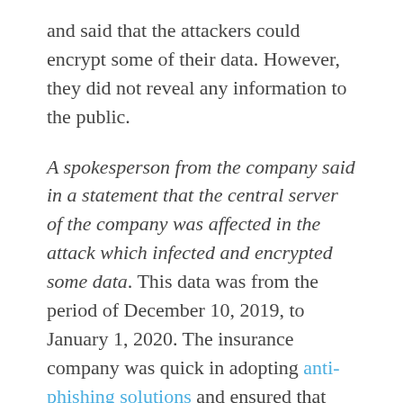and said that the attackers could encrypt some of their data. However, they did not reveal any information to the public.
A spokesperson from the company said in a statement that the central server of the company was affected in the attack which infected and encrypted some data. This data was from the period of December 10, 2019, to January 1, 2020. The insurance company was quick in adopting anti-phishing solutions and ensured that online operations didn't remain suspended for more than a day. Their servers are now operating normally, and they have managed to recover the lost data. It is understood that the company had backups of